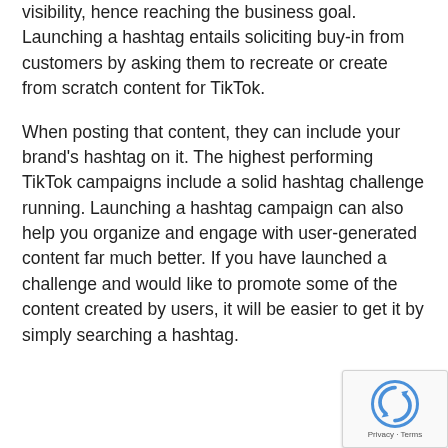visibility, hence reaching the business goal. Launching a hashtag entails soliciting buy-in from customers by asking them to recreate or create from scratch content for TikTok.
When posting that content, they can include your brand's hashtag on it. The highest performing TikTok campaigns include a solid hashtag challenge running. Launching a hashtag campaign can also help you organize and engage with user-generated content far much better. If you have launched a challenge and would like to promote some of the content created by users, it will be easier to get it by simply searching a hashtag.